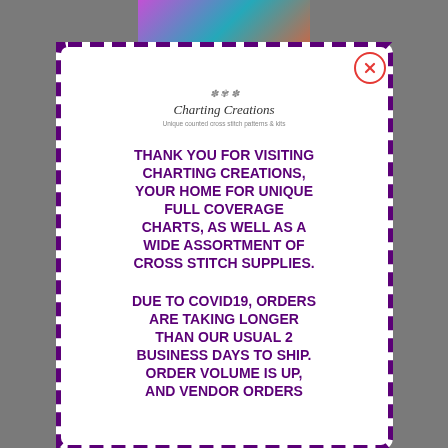[Figure (screenshot): A modal popup dialog over a product page screenshot. The modal has a purple dashed/checkerboard border on white background. Contains the Charting Creations logo at top, followed by purple bold uppercase text thanking visitors and noting COVID-19 shipping delays. A red circle X close button is in the upper right. Behind the modal, a product page with images and 'Main Clamp - Fuschia-Pink' text is partially visible.]
THANK YOU FOR VISITING CHARTING CREATIONS, YOUR HOME FOR UNIQUE FULL COVERAGE CHARTS, AS WELL AS A WIDE ASSORTMENT OF CROSS STITCH SUPPLIES.
DUE TO COVID19, ORDERS ARE TAKING LONGER THAN OUR USUAL 2 BUSINESS DAYS TO SHIP. ORDER VOLUME IS UP, AND VENDOR ORDERS
Main Clamp - Fuschia-Pink